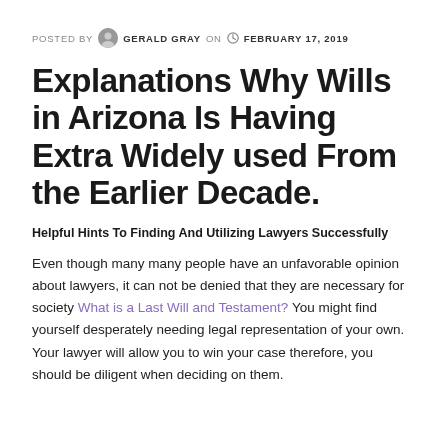POSTED BY  GERALD GRAY  ON  FEBRUARY 17, 2019
Explanations Why Wills in Arizona Is Having Extra Widely used From the Earlier Decade.
Helpful Hints To Finding And Utilizing Lawyers Successfully
Even though many many people have an unfavorable opinion about lawyers, it can not be denied that they are necessary for society What is a Last Will and Testament? You might find yourself desperately needing legal representation of your own. Your lawyer will allow you to win your case therefore, you should be diligent when deciding on them.